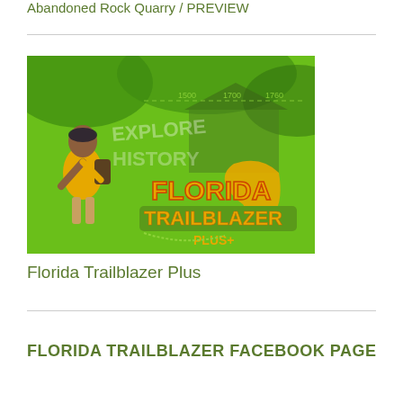Abandoned Rock Quarry / PREVIEW
[Figure (photo): Florida Trailblazer Plus promotional image with a hiker in a yellow shirt, green nature background, text reading EXPLORE HISTORY, FLORIDA TRAILBLAZER PLUS+, and a Florida state map graphic.]
Florida Trailblazer Plus
FLORIDA TRAILBLAZER FACEBOOK PAGE